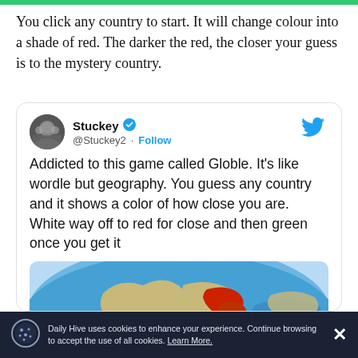You click any country to start. It will change colour into a shade of red. The darker the red, the closer your guess is to the mystery country.
[Figure (screenshot): Embedded tweet from @Stuckey2 describing the Globle geography game, with a map image showing countries highlighted in red and green on a globe.]
Daily Hive uses cookies to enhance your experience. Continue browsing to accept the use of all cookies. Learn More.